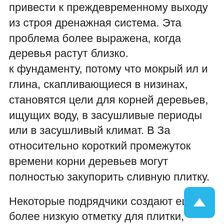привести к преждевременному выходу из строя дренажная система. Эта проблема более выражена, когда деревья растут близко.
к фундаменту, потому что мокрый ил и глина, скапливающиеся в низинах, становятся цели для корней деревьев, ищущих воду, в засушливые периоды или в засушливый климат. В За относительно короткий промежуток времени корни деревьев могут полностью закупорить сливную плитку.
Некоторые подрядчики создают еще более низкую отметку для плитки, копая небольшая траншея у основания.Однако, чтобы не подорвать фундамент, большинство кодексов требуют, чтобы плитка располагалась под углом 60 градусов от опора.
Водосливную плитку можно также положить поверх
[Figure (other): Scroll-to-top button, a cyan/blue rounded square with an upward arrow icon]